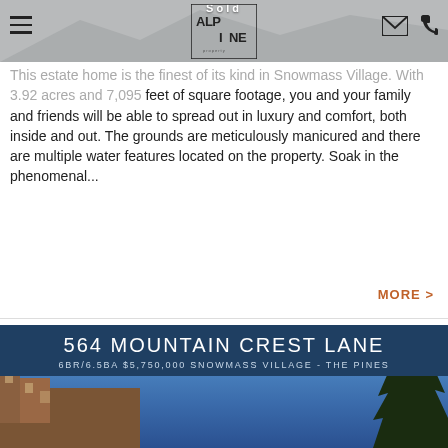[Figure (photo): Top navigation bar with hamburger menu, Alpine Property logo, mail and phone icons over a faded property photo background]
Sold
This estate home is the finest of its kind in Snowmass Village. With 3.92 acres and 7,095 feet of square footage, you and your family and friends will be able to spread out in luxury and comfort, both inside and out. The grounds are meticulously manicured and there are multiple water features located on the property. Soak in the phenomenal...
MORE >
[Figure (photo): Listing card with dark blue background showing 564 Mountain Crest Lane, 6BR/6.5BA $5,750,000 Snowmass Village - The Pines, with a building and tree photo below]
564 MOUNTAIN CREST LANE
6BR/6.5BA $5,750,000 SNOWMASS VILLAGE - THE PINES